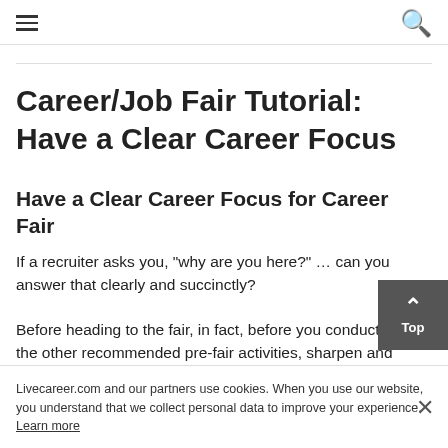≡ [hamburger menu] | [search icon]
Career/Job Fair Tutorial: Have a Clear Career Focus
Have a Clear Career Focus for Career Fair
If a recruiter asks you, "why are you here?" ... can you answer that clearly and succinctly?
Before heading to the fair, in fact, before you conduct any of the other recommended pre-fair activities, sharpen and…
Livecareer.com and our partners use cookies. When you use our website, you understand that we collect personal data to improve your experience. Learn more